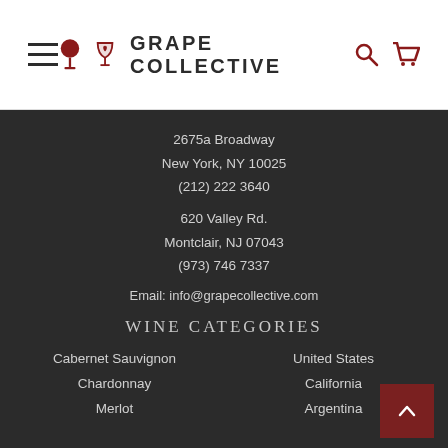GRAPE COLLECTIVE
2675a Broadway
New York, NY 10025
(212) 222 3640
620 Valley Rd.
Montclair, NJ 07043
(973) 746 7337
Email: info@grapecollective.com
WINE CATEGORIES
Cabernet Sauvignon
Chardonnay
Merlot
United States
California
Argentina